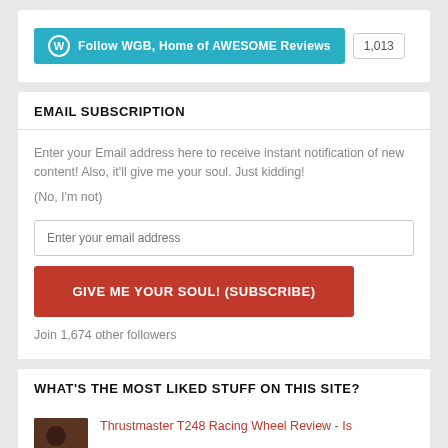[Figure (other): WordPress Follow button for WGB, Home of AWESOME Reviews with follower count 1,013]
EMAIL SUBSCRIPTION
Enter your Email address here to receive instant notification of new content! Also, it'll give me your soul. Just kidding!

(No, I'm not)
Enter your email address
GIVE ME YOUR SOUL! (SUBSCRIBE)
Join 1,674 other followers
WHAT'S THE MOST LIKED STUFF ON THIS SITE?
Thrustmaster T248 Racing Wheel Review - Is